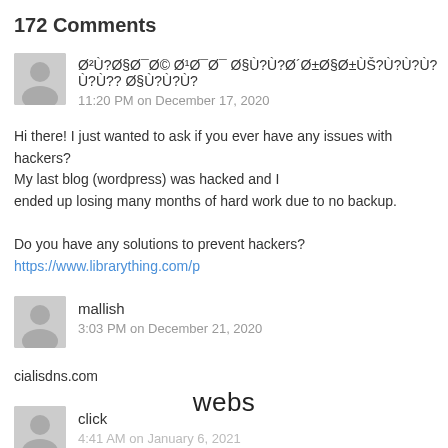172 Comments
Ø²Ù?Ø§Ø¯Ø© Ø¹Ø¯Ø¯ Ø§Ù?Ù?Ø´Ø±Ø§Ø±ÙŠ?Ù?Ù?Ù? Ù?Ù?? Ø§Ù?Ù?Ù?
11:20 PM on December 17, 2020
Hi there! I just wanted to ask if you ever have any issues with hackers?
My last blog (wordpress) was hacked and I
ended up losing many months of hard work due to no backup.

Do you have any solutions to prevent hackers? https://www.librarything.com/p
mallish
3:03 PM on December 21, 2020
cialisdns.com
click
4:41 AM on January 6, 2021
webs